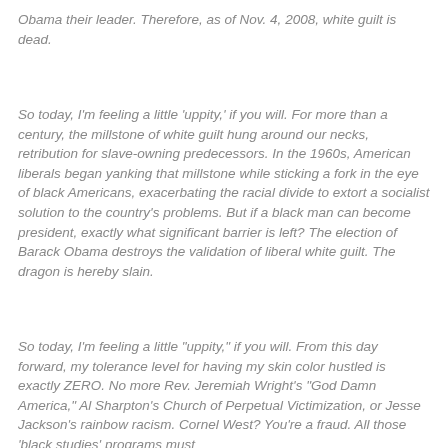Obama their leader. Therefore, as of Nov. 4, 2008, white guilt is dead.
So today, I'm feeling a little 'uppity,' if you will. For more than a century, the millstone of white guilt hung around our necks, retribution for slave-owning predecessors. In the 1960s, American liberals began yanking that millstone while sticking a fork in the eye of black Americans, exacerbating the racial divide to extort a socialist solution to the country's problems. But if a black man can become president, exactly what significant barrier is left? The election of Barack Obama destroys the validation of liberal white guilt. The dragon is hereby slain.
So today, I'm feeling a little "uppity," if you will. From this day forward, my tolerance level for having my skin color hustled is exactly ZERO. No more Rev. Jeremiah Wright's "God Damn America," Al Sharpton's Church of Perpetual Victimization, or Jesse Jackson's rainbow racism. Cornel West? You're a fraud. All those 'black studies' programs must